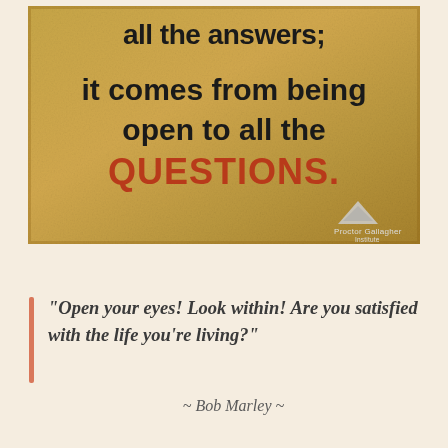[Figure (illustration): A textured golden/tan parchment-colored card with dark text reading 'all the answers; it comes from being open to all the QUESTIONS.' where QUESTIONS is in red/orange. A small triangular logo for 'Proctor Gallagher Institute' appears in the bottom right corner.]
“Open your eyes! Look within! Are you satisfied with the life you’re living?”
~Bob Marley ~